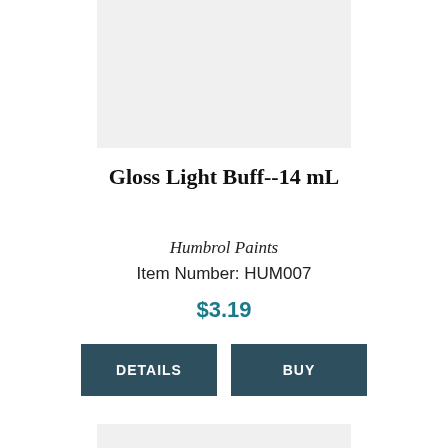[Figure (photo): Product image placeholder – light gray background, top portion of product card]
Gloss Light Buff--14 mL
Humbrol Paints
Item Number: HUM007
$3.19
DETAILS
BUY
[Figure (photo): Product image placeholder – light gray background, bottom portion of next product card]